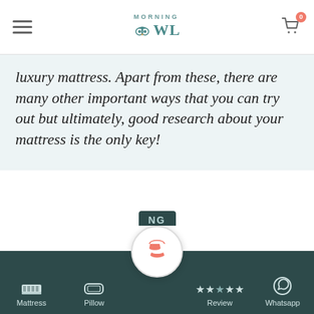Morning OWL - Navigation header with hamburger menu and cart (0 items)
luxury mattress. Apart from these, there are many other important ways that you can try out but ultimately, good research about your mattress is the only key!
[Figure (screenshot): Mobile bottom navigation bar with call button, Mattress, Pillow, Review, and Whatsapp icons on dark teal background]
Mattress | Pillow | [Call] | Review | Whatsapp